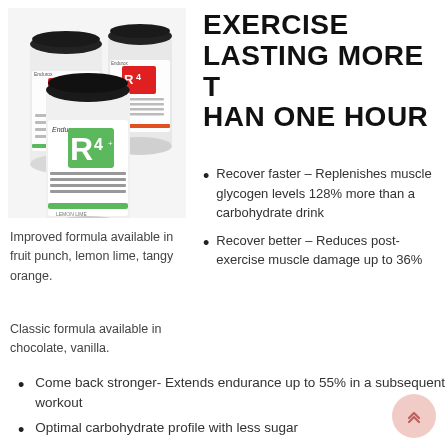[Figure (photo): Three white protein supplement tubs with black lids and green/red R4 branding (Endurox R4), arranged in a group shot]
EXERCISE LASTING MORE THAN ONE HOUR
Recover faster – Replenishes muscle glycogen levels 128% more than a carbohydrate drink
Recover better – Reduces post-exercise muscle damage up to 36%
Improved formula available in fruit punch, lemon lime, tangy orange.
Classic formula available in chocolate, vanilla.
Come back stronger- Extends endurance up to 55% in a subsequent workout
Optimal carbohydrate profile with less sugar